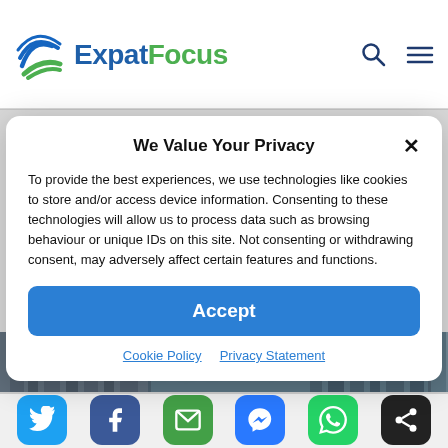ExpatFocus
We Value Your Privacy
To provide the best experiences, we use technologies like cookies to store and/or access device information. Consenting to these technologies will allow us to process data such as browsing behaviour or unique IDs on this site. Not consenting or withdrawing consent, may adversely affect certain features and functions.
Accept
Cookie Policy  Privacy Statement
[Figure (photo): Bulgaria scenic image strip with text BULGARIA]
[Figure (infographic): Social sharing buttons: Twitter, Facebook, Email, Messenger, WhatsApp, Share]